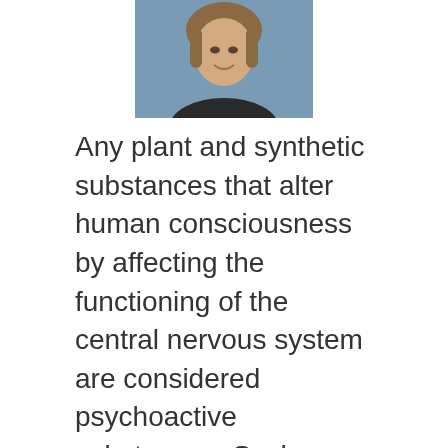[Figure (photo): Head and shoulders portrait photo of a woman with short brown hair, smiling, wearing a dark top]
Any plant and synthetic substances that alter human consciousness by affecting the functioning of the central nervous system are considered psychoactive substances. Such drugs lead to mental problems, destroying the adequate perception of the world. Psychoactive drugs can be used in medicine as sedatives, pain relievers, or to correct behavior in the mentally ill.
About us
Contact
Privacy Policy & Cookies